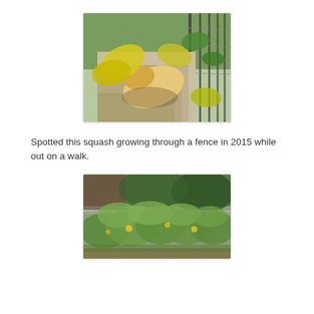[Figure (photo): A photograph of a squash growing through a metal wire fence, with yellow leaves visible and concrete steps in the background.]
Spotted this squash growing through a fence in 2015 while out on a walk.
[Figure (photo): A photograph of a large garden bed with lush green squash or pumpkin plants with yellow flowers growing over and through a chain-link fence, with trees in the background.]